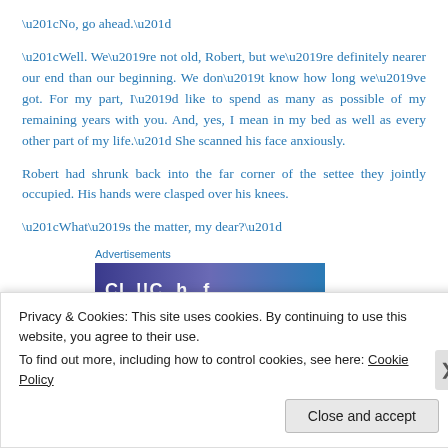“No, go ahead.”
“Well. We’re not old, Robert, but we’re definitely nearer our end than our beginning. We don’t know how long we’ve got. For my part, I’d like to spend as many as possible of my remaining years with you. And, yes, I mean in my bed as well as every other part of my life.” She scanned his face anxiously.
Robert had shrunk back into the far corner of the settee they jointly occupied. His hands were clasped over his knees.
“What’s the matter, my dear?”
Advertisements
[Figure (other): Blue gradient advertisement banner with white bold text partially visible]
Privacy & Cookies: This site uses cookies. By continuing to use this website, you agree to their use.
To find out more, including how to control cookies, see here: Cookie Policy
Close and accept